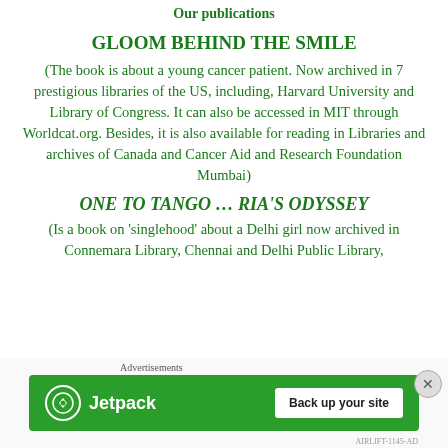Our publications
GLOOM BEHIND THE SMILE
(The book is about a young cancer patient. Now archived in 7 prestigious libraries of the US, including, Harvard University and Library of Congress. It can also be accessed in MIT through Worldcat.org. Besides, it is also available for reading in Libraries and archives of Canada and Cancer Aid and Research Foundation Mumbai)
ONE TO TANGO … RIA'S ODYSSEY
(Is a book on 'singlehood' about a Delhi girl now archived in Connemara Library, Chennai and Delhi Public Library,
Advertisements
[Figure (other): Jetpack advertisement banner with 'Back up your site' button on green background]